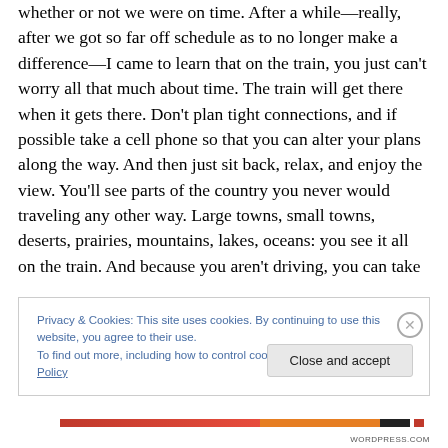whether or not we were on time. After a while—really, after we got so far off schedule as to no longer make a difference—I came to learn that on the train, you just can't worry all that much about time. The train will get there when it gets there. Don't plan tight connections, and if possible take a cell phone so that you can alter your plans along the way. And then just sit back, relax, and enjoy the view. You'll see parts of the country you never would traveling any other way. Large towns, small towns, deserts, prairies, mountains, lakes, oceans: you see it all on the train. And because you aren't driving, you can take
Privacy & Cookies: This site uses cookies. By continuing to use this website, you agree to their use.
To find out more, including how to control cookies, see here: Cookie Policy
Close and accept